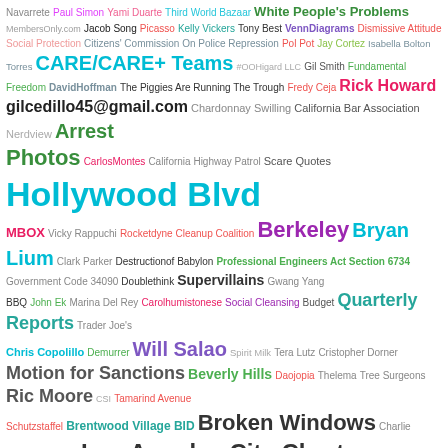[Figure (infographic): Word cloud containing various terms related to Los Angeles government, politics, locations, and public figures. Words vary in size, color, and weight to indicate frequency or importance. Key terms include Hollywood Blvd, Los Angeles City Charter Section 470, International Security, Los Angeles Unified School District, Richard Tefank, Spring Street Courthouse, Berkeley, Bryan Lium, Quarterly Reports, Motion for Sanctions, Broken Windows, Carson, Sarcasm, Andrews, Arrests, CARE/CARE+ Teams, and many others.]